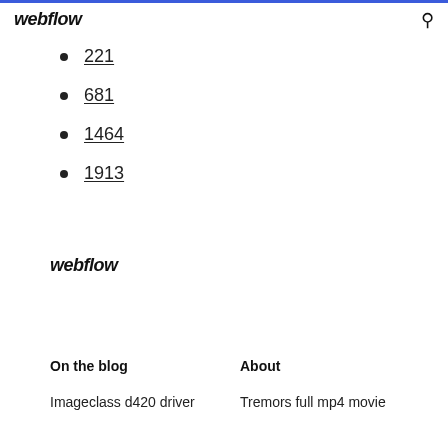webflow
221
681
1464
1913
webflow
On the blog
About
Imageclass d420 driver
Tremors full mp4 movie